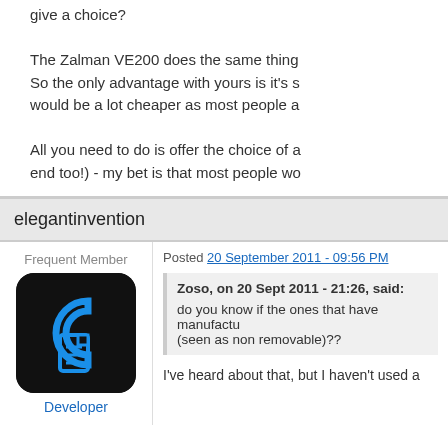give a choice?
The Zalman VE200 does the same thing So the only advantage with yours is it's s would be a lot cheaper as most people a
All you need to do is offer the choice of a end too!) - my bet is that most people wo
elegantinvention
Frequent Member
Posted 20 September 2011 - 09:56 PM
[Figure (logo): Dark rounded square app icon with blue neon-style letter C and document/pencil icon]
Developer
Zoso, on 20 Sept 2011 - 21:26, said: do you know if the ones that have manufactu (seen as non removable)??
I've heard about that, but I haven't used a